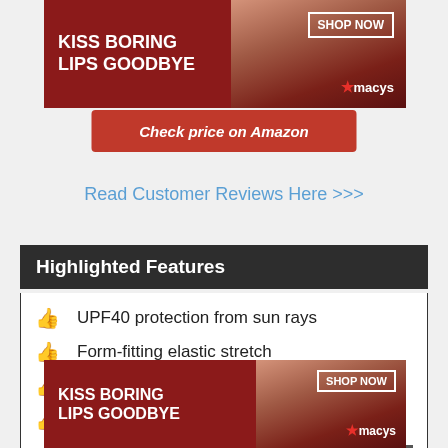[Figure (photo): Macy's advertisement banner: 'KISS BORING LIPS GOODBYE' with woman's face and red lips, SHOP NOW button with Macy's star logo, red background]
Check price on Amazon
Read Customer Reviews Here >>>
Highlighted Features
UPF40 protection from sun rays
Form-fitting elastic stretch
No wraps, belts, or buckles
Sensible and stylish sleep solution
Reduced body and back pain with every night
[Figure (photo): Second Macy's advertisement banner at bottom: 'KISS BORING LIPS GOODBYE' with woman's face and red lips, SHOP NOW button with Macy's star logo]